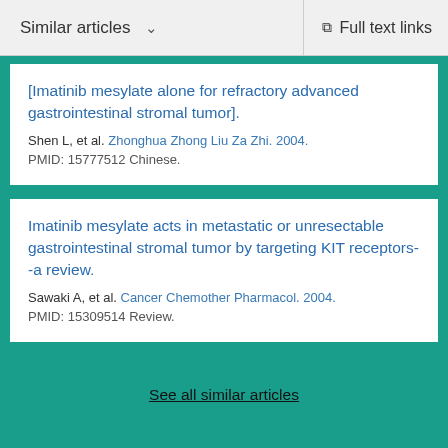Similar articles   Full text links
[Imatinib mesylate alone for refractory advanced gastrointestinal stromal tumor].
Shen L, et al. Zhonghua Zhong Liu Za Zhi. 2004.
PMID: 15777512 Chinese.
Imatinib mesylate acts in metastatic or unresectable gastrointestinal stromal tumor by targeting KIT receptors--a review.
Sawaki A, et al. Cancer Chemother Pharmacol. 2004.
PMID: 15309514 Review.
See all similar articles